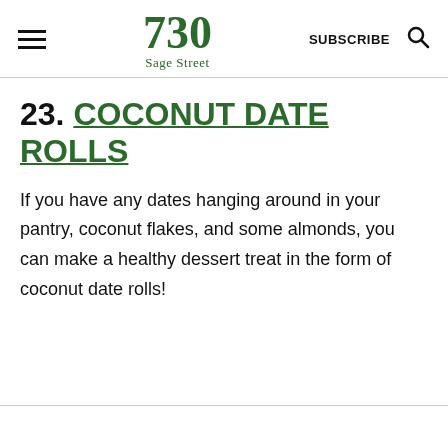730 Sage Street — SUBSCRIBE
23. COCONUT DATE ROLLS
If you have any dates hanging around in your pantry, coconut flakes, and some almonds, you can make a healthy dessert treat in the form of coconut date rolls!